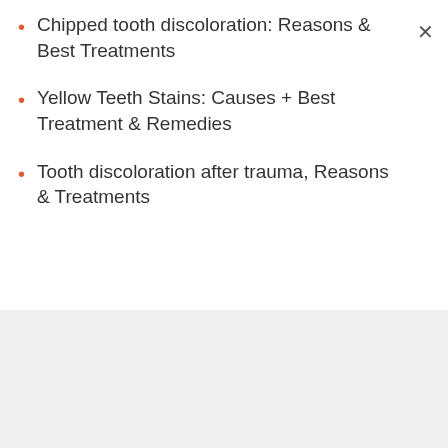Chipped tooth discoloration: Reasons & Best Treatments
Yellow Teeth Stains: Causes + Best Treatment & Remedies
Tooth discoloration after trauma, Reasons & Treatments
CATEGORIES
Gum
Mouth
Oil